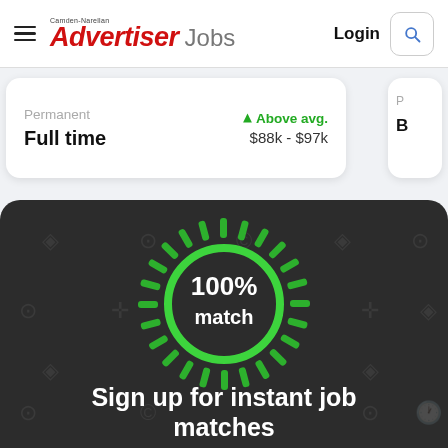Camden-Narellan Advertiser Jobs  Login
Permanent
Full time
↑ Above avg.
$88k - $97k
[Figure (infographic): Dark background panel with a green glowing 100% match circle with radiating dashes, surrounded by faint grey job-related icons in the background.]
Sign up for instant job matches